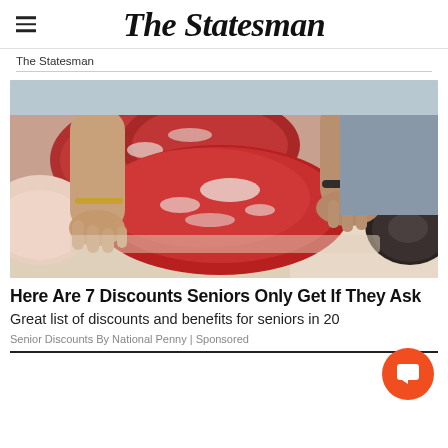The Statesman
The Statesman
[Figure (photo): Hands holding a large raw cut of beef over a butcher counter with multiple cuts of meat visible]
Here Are 7 Discounts Seniors Only Get If They Ask
Great list of discounts and benefits for seniors in 20
Senior Discounts By National Penny | Sponsored